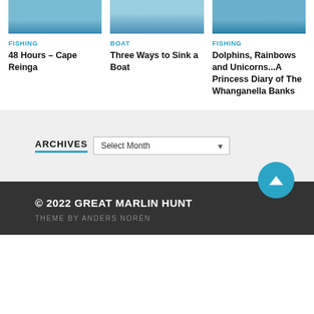[Figure (photo): Partial view of ocean/marine scene at top of first card]
[Figure (photo): Partial view of boat on water at top of second card]
[Figure (photo): Partial view of ocean/marine scene at top of third card]
FISHING
48 Hours – Cape Reinga
BOAT
Three Ways to Sink a Boat
FISHING
Dolphins, Rainbows and Unicorns...A Princess Diary of The Whanganella Banks
ARCHIVES
Select Month
© 2022 GREAT MARLIN HUNT
THEME BY ANDERS NORÉN